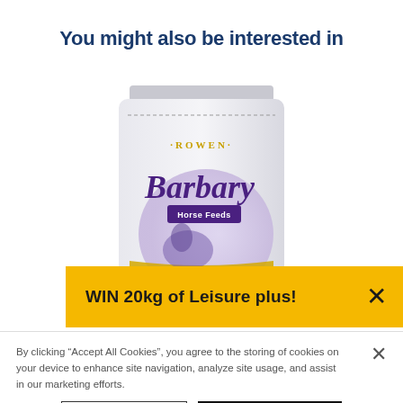You might also be interested in
[Figure (photo): Product bag of Rowen Barbary Horse Feeds]
WIN 20kg of Leisure plus!
By clicking “Accept All Cookies”, you agree to the storing of cookies on your device to enhance site navigation, analyze site usage, and assist in our marketing efforts.
Cookies Settings
Accept All Cookies